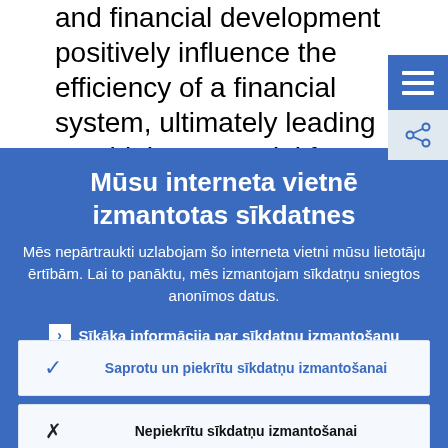and financial development positively influence the efficiency of a financial system, ultimately leading to a higher potential for economic growth.
Mūsu interneta vietnē izmantotas sīkdatnes
Mēs nepārtraukti uzlabojam šo interneta vietni mūsu lietotāju ērtībām. Lai to panāktu, mēs izmantojam sīkdatņu sniegtos anonīmos datus.
Sīkāka informācija par sīkdatņu izmantošanu
Saprotu un piekrītu sīkdatņu izmantošanai
Nepiekrītu sīkdatņu izmantošanai